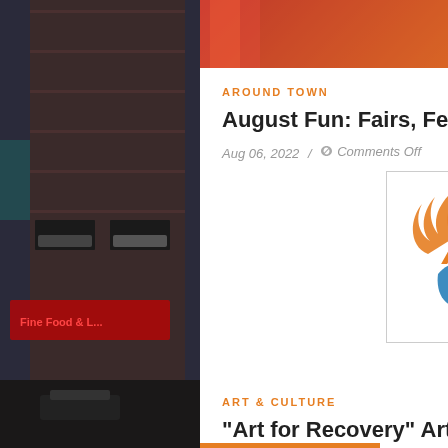[Figure (photo): City street photography on left side background — urban building with parking garage and neon red sign at night]
[Figure (photo): City street photography on right side background — urban buildings and light trails at night]
[Figure (photo): Top banner image showing colorful items with text '& MORE!']
AROUND TOWN
August Fun: Fairs, Festivals & More!
Aug 06, 2022 / Comments Off
[Figure (logo): Art for Recovery logo — stylized flame/wave shapes with orange 'Art' text and blue 'for Recovery' text inside a bordered box]
ART & CULTURE
“Art for Recovery” Art Show
Aug 04, 2022 / Comments Off